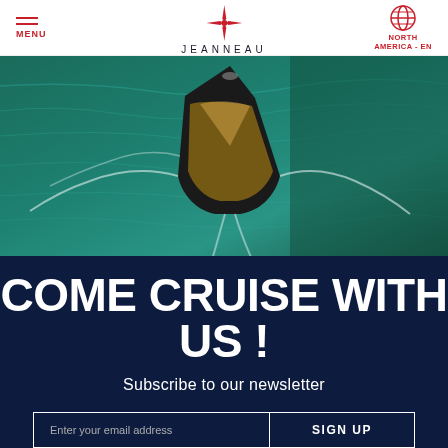MENU | JEANNEAU | NORTH AMERICA - EN
[Figure (photo): Aerial view of a Jeanneau sailing yacht on turquoise-green water, viewed from above, showing the deck and white wake lines.]
COME CRUISE WITH US !
Subscribe to our newsletter
Enter your email address | SIGN UP